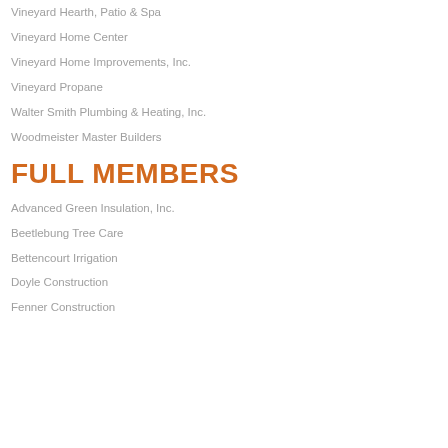Vineyard Hearth, Patio & Spa
Vineyard Home Center
Vineyard Home Improvements, Inc.
Vineyard Propane
Walter Smith Plumbing & Heating, Inc.
Woodmeister Master Builders
FULL MEMBERS
Advanced Green Insulation, Inc.
Beetlebung Tree Care
Bettencourt Irrigation
Doyle Construction
Fenner Construction